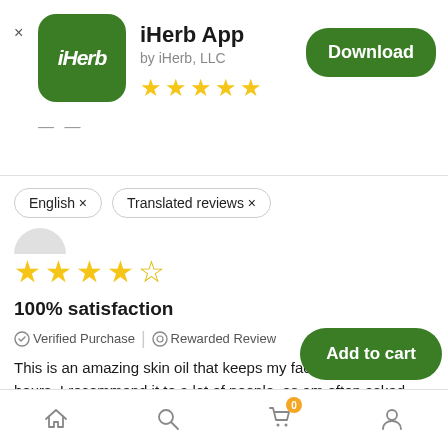[Figure (screenshot): iHerb app icon: green rounded square with white italic iHerb text]
iHerb App
by iHerb, LLC
[Figure (other): 5 gold stars rating]
[Figure (other): Download button (green rounded rectangle)]
English ×
Translated reviews ×
[Figure (other): 4.5 gold stars rating for review]
100% satisfaction
✓ Verified Purchase | ⊙ Rewarded Review
This is an amazing skin oil that keeps my face hydrated for hours. I recommend it to a lot of people, as am often asked why my skin looks so much better. I highly recommend it to adolescence onwards, and I plan to keep using it as my primary
[Figure (other): Add to cart button (green rounded pill)]
[Figure (other): Bottom navigation bar with home, search, cart (badge 0), profile icons]